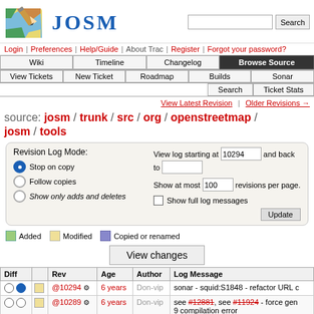[Figure (logo): JOSM logo: colorful map with pencil icon]
JOSM
Search [search box]
Login | Preferences | Help/Guide | About Trac | Register | Forgot your password?
Wiki | Timeline | Changelog | Browse Source
View Tickets | New Ticket | Roadmap | Builds | Sonar
Search | Ticket Stats
View Latest Revision | Older Revisions →
source: josm / trunk / src / org / openstreetmap / josm / tools
Revision Log Mode: Stop on copy, Follow copies, Show only adds and deletes. View log starting at 10294 and back to []. Show at most 100 revisions per page. Show full log messages. Update
Added  Modified  Copied or renamed
View changes
| Diff |  | Rev | Age | Author | Log Message |
| --- | --- | --- | --- | --- | --- |
| ○ ● | □ | @10294 ⚙ | 6 years | Don-vip | sonar - squid:S1848 - refactor URL c... |
| ○ ○ | □ | @10289 ⚙ | 6 years | Don-vip | see #12881, see #11924 - force gen... 9 compilation error |